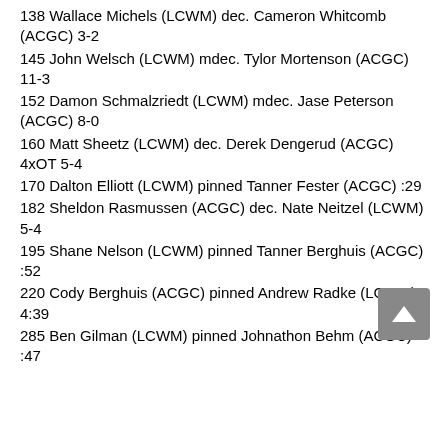138 Wallace Michels (LCWM) dec. Cameron Whitcomb (ACGC) 3-2
145 John Welsch (LCWM) mdec. Tylor Mortenson (ACGC) 11-3
152 Damon Schmalzriedt (LCWM) mdec. Jase Peterson (ACGC) 8-0
160 Matt Sheetz (LCWM) dec. Derek Dengerud (ACGC) 4xOT 5-4
170 Dalton Elliott (LCWM) pinned Tanner Fester (ACGC) :29
182 Sheldon Rasmussen (ACGC) dec. Nate Neitzel (LCWM) 5-4
195 Shane Nelson (LCWM) pinned Tanner Berghuis (ACGC) :52
220 Cody Berghuis (ACGC) pinned Andrew Radke (LCWM) 4:39
285 Ben Gilman (LCWM) pinned Johnathon Behm (ACGC) :47